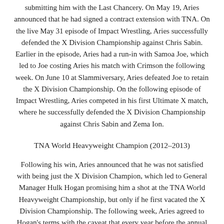submitting him with the Last Chancery. On May 19, Aries announced that he had signed a contract extension with TNA. On the live May 31 episode of Impact Wrestling, Aries successfully defended the X Division Championship against Chris Sabin. Earlier in the episode, Aries had a run-in with Samoa Joe, which led to Joe costing Aries his match with Crimson the following week. On June 10 at Slammiversary, Aries defeated Joe to retain the X Division Championship. On the following episode of Impact Wrestling, Aries competed in his first Ultimate X match, where he successfully defended the X Division Championship against Chris Sabin and Zema Ion.
TNA World Heavyweight Champion (2012–2013)
Following his win, Aries announced that he was not satisfied with being just the X Division Champion, which led to General Manager Hulk Hogan promising him a shot at the TNA World Heavyweight Championship, but only if he first vacated the X Division Championship. The following week, Aries agreed to Hogan's terms with the caveat that every year before the annual Destination X pay-per-view, future X Division Champions be given the same opportunity.